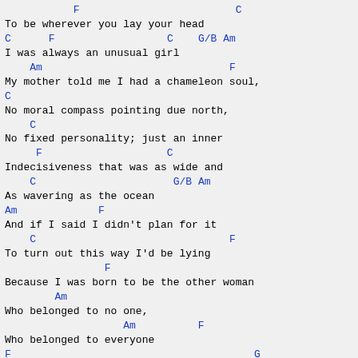F                         C
To be wherever you lay your head
C      F                  C    G/B Am
I was always an unusual girl
    Am                              F
My mother told me I had a chameleon soul,
C
No moral compass pointing due north,
    C
No fixed personality; just an inner
     F                    C
Indecisiveness that was as wide and
    C                      G/B Am
As wavering as the ocean
Am             F
And if I said I didn't plan for it
    C                               F
To turn out this way I'd be lying
                F
Because I was born to be the other woman
        Am
Who belonged to no one,
                   Am          F
Who belonged to everyone
F                                       G
Who had nothing, who wanted everything,
        G